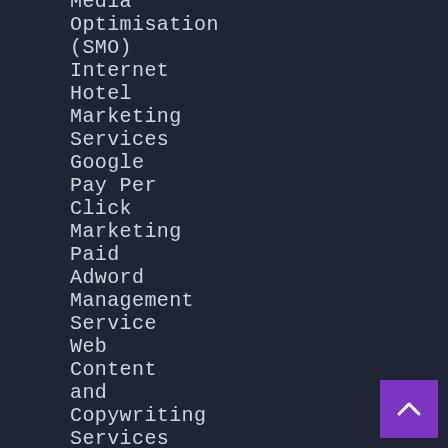Media Optimisation (SMO)
Internet
Hotel Marketing Services
Google Pay Per Click Marketing
Paid Adword Management Service
Web Content and Copywriting Services
YouTube & Digital Media Marketing